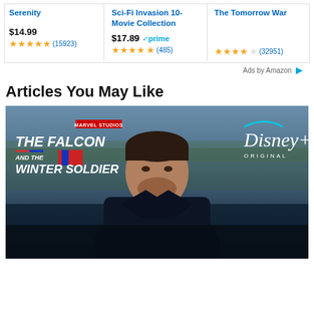[Figure (screenshot): Amazon product listing row showing three movie/collection items with prices and star ratings: Serenity ($14.99, 4.5 stars, 15923 reviews), Sci-Fi Invasion 10-Movie Collection ($17.89 with Prime, 4.5 stars, 485 reviews), The Tomorrow War (no price shown, 3.5 stars, 32951 reviews)]
Ads by Amazon
Articles You May Like
[Figure (photo): Promotional image for The Falcon and the Winter Soldier Disney+ Original series, showing a man in a dark coat standing outdoors. The show logo appears in the upper left and the Disney+ Original logo in the upper right.]